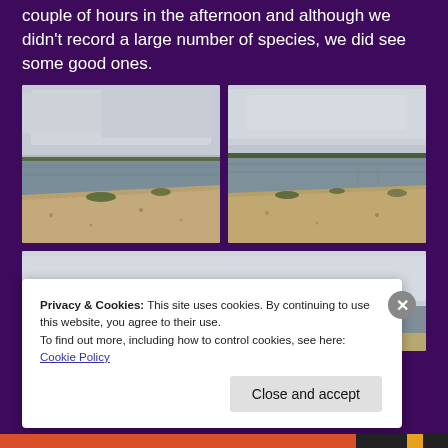couple of hours in the afternoon and although we didn't record a large number of species, we did see some good ones.
[Figure (photo): Two side-by-side landscape photos of a reservoir or lake with a shingle/gravel bank in the foreground and overcast sky above.]
[Figure (photo): Partial third photo of similar lake/reservoir scene, partially obscured by cookie banner.]
Privacy & Cookies: This site uses cookies. By continuing to use this website, you agree to their use.
To find out more, including how to control cookies, see here: Cookie Policy
Close and accept